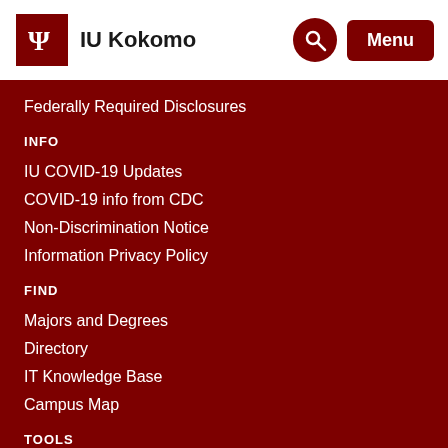IU Kokomo
Federally Required Disclosures
INFO
IU COVID-19 Updates
COVID-19 info from CDC
Non-Discrimination Notice
Information Privacy Policy
FIND
Majors and Degrees
Directory
IT Knowledge Base
Campus Map
TOOLS